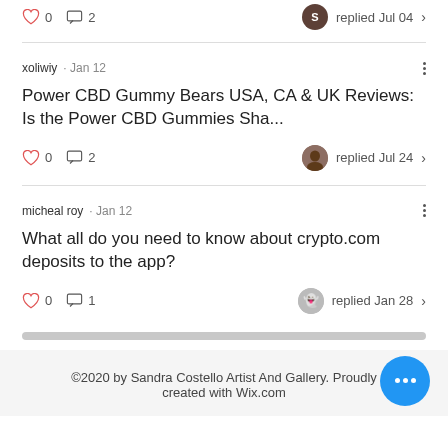0  2  replied Jul 04
xoliwiy · Jan 12
Power CBD Gummy Bears USA, CA & UK Reviews: Is the Power CBD Gummies Sha...
0  2  replied Jul 24
micheal roy · Jan 12
What all do you need to know about crypto.com deposits to the app?
0  1  replied Jan 28
©2020 by Sandra Costello Artist And Gallery. Proudly created with Wix.com